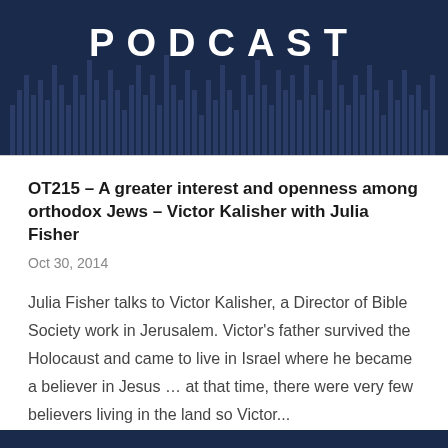[Figure (illustration): Podcast banner with dark navy background, the word PODCAST in large white bold spaced letters, and a stylized bar chart equalizer graphic in the background.]
OT215 – A greater interest and openness among orthodox Jews – Victor Kalisher with Julia Fisher
Oct 30, 2014
Julia Fisher talks to Victor Kalisher, a Director of Bible Society work in Jerusalem. Victor's father survived the Holocaust and came to live in Israel where he became a believer in Jesus … at that time, there were very few believers living in the land so Victor...